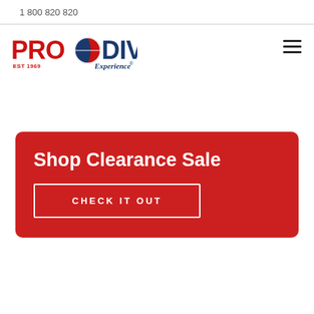1 800 820 820
[Figure (logo): Pro Dive Experience logo — PRO in red, DIVE in dark blue/red with a circular dive logo, 'EST. 1969' and 'Experience' in script]
Shop Clearance Sale
CHECK IT OUT